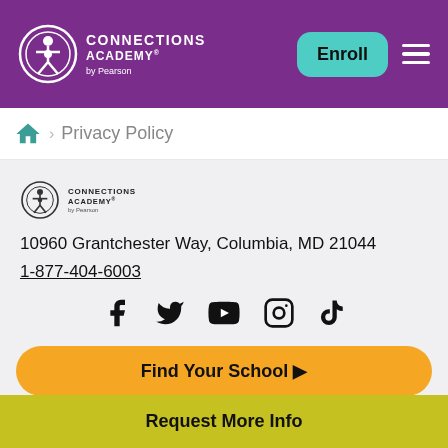Connections Academy by Pearson — Enroll
Privacy Policy
[Figure (logo): Connections Academy by Pearson logo (small, dark version)]
10960 Grantchester Way, Columbia, MD 21044
1-877-404-6003
[Figure (infographic): Social media icons: Facebook, Twitter, YouTube, Instagram, TikTok]
Find Your School ▶
Request More Info